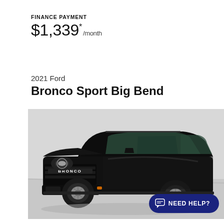FINANCE PAYMENT
$1,339* /month
2021 Ford
Bronco Sport Big Bend
[Figure (photo): Black 2021 Ford Bronco Sport Big Bend SUV photographed in a dealership showroom, front three-quarter view showing BRONCO grille lettering, round headlights, and alloy wheels]
NEED HELP?